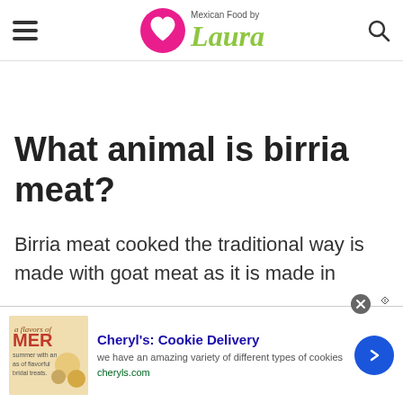Mexican Food by Laura
What animal is birria meat?
Birria meat cooked the traditional way is made with goat meat as it is made in
[Figure (infographic): Advertisement banner for Cheryl's Cookie Delivery showing cookie image, ad text, and arrow button]